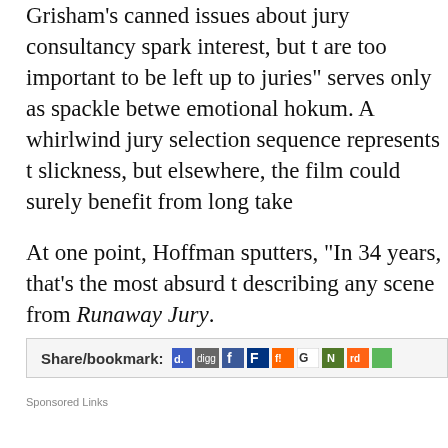Grisham's canned issues about jury consultancy spark interest, but the "cases are too important to be left up to juries" serves only as spackle between emotional hokum. A whirlwind jury selection sequence represents the film's slickness, but elsewhere, the film could surely benefit from long takes.
At one point, Hoffman sputters, "In 34 years, that's the most absurd thing..." describing any scene from Runaway Jury.
[Figure (other): Share/bookmark toolbar with social media icons including del.icio.us, Digg, Facebook, Fark, Furl, Google, Newsvine, Reddit]
Sponsored Links